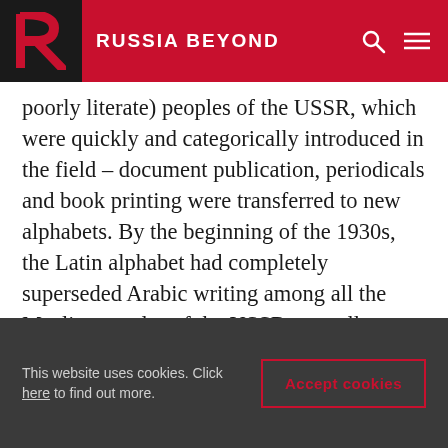RUSSIA BEYOND
poorly literate) peoples of the USSR, which were quickly and categorically introduced in the field – document publication, periodicals and book printing were transferred to new alphabets. By the beginning of the 1930s, the Latin alphabet had completely superseded Arabic writing among all the Muslim peoples of the USSR, as well as many Cyrillic alphabets of non-Slavic peoples and traditional forms of writing among the Mongolian population (Kalmyks and Buryats). The ending of illiteracy and the propagation of primary education among the population of the USSR in a short time
This website uses cookies. Click here to find out more. Accept cookies